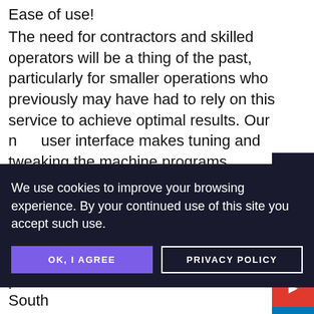Ease of use!
The need for contractors and skilled operators will be a thing of the past, particularly for smaller operations who previously may have had to rely on this service to achieve optimal results. Our new user interface makes tuning and tweaking the machine programs simpler than ever before, allowing you to easily adjust, depending on the fruit variety, seasonal variations and batch quality. Graphically driven with an intuitive layout, users
[Figure (infographic): Social media sidebar buttons: arrow/next (dark), email (dark), Facebook (blue), YouTube (red), LinkedIn (blue), Twitter (blue), Instagram (gradient)]
[Figure (screenshot): Cookie consent banner with dark navy background. Text: 'We use cookies to improve your browsing experience. By your continued use of this site you accept such use.' Buttons: 'OK, I AGREE' (purple) and 'PRIVACY POLICY' (outlined white)]
parts available across Australia, North and South